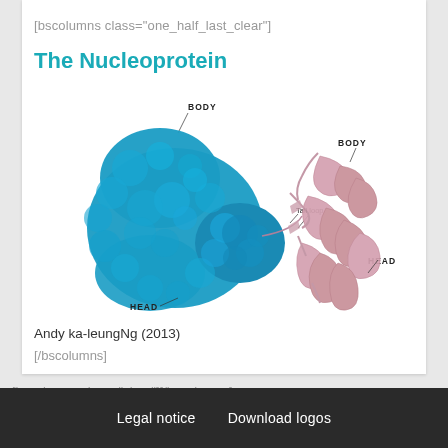[bscolumns class="one_half_last_clear"]
The Nucleoprotein
[Figure (illustration): Molecular structure illustration of the Nucleoprotein showing two views: a blue space-filling model (left) labeled with BODY and HEAD, and a pink ribbon/cartoon model (right) labeled with BODY, Tail loop, and HEAD.]
Andy ka-leungNg (2013)
[/bscolumns]
[bscolumns class="clear"][/bscolumns]
Legal notice   Download logos